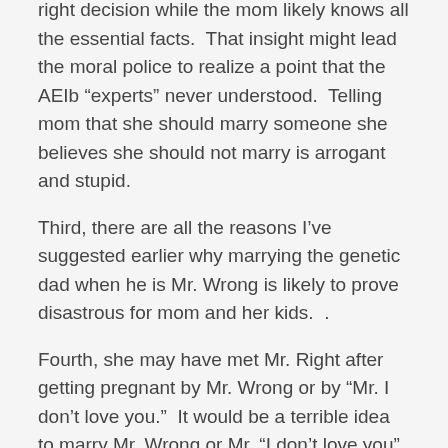right decision while the mom likely knows all the essential facts.  That insight might lead the moral police to realize a point that the AEIb “experts” never understood.  Telling mom that she should marry someone she believes she should not marry is arrogant and stupid.
Third, there are all the reasons I’ve suggested earlier why marrying the genetic dad when he is Mr. Wrong is likely to prove disastrous for mom and her kids.  .
Fourth, she may have met Mr. Right after getting pregnant by Mr. Wrong or by “Mr. I don’t love you.”  It would be a terrible idea to marry Mr. Wrong or Mr. “I don’t love you” instead of Mr. Right.
Fifth, the genetic dad may be married, and marrying him would be a criminal act of bigamy.
Sixth, if one knew anything about American history, it